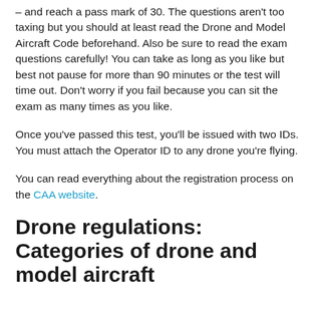– and reach a pass mark of 30. The questions aren't too taxing but you should at least read the Drone and Model Aircraft Code beforehand. Also be sure to read the exam questions carefully! You can take as long as you like but best not pause for more than 90 minutes or the test will time out. Don't worry if you fail because you can sit the exam as many times as you like.
Once you've passed this test, you'll be issued with two IDs. You must attach the Operator ID to any drone you're flying.
You can read everything about the registration process on the CAA website.
Drone regulations: Categories of drone and model aircraft